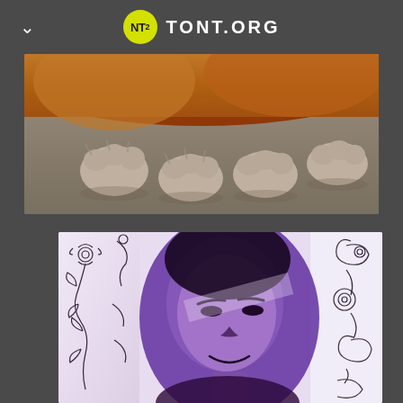NT² TONT.ORG
[Figure (photo): Close-up photo of a cat's paws and lower body lying on a beige/gray carpet. The cat has orange/golden fur visible at the top of the image, with four paws spread out on the floor.]
[Figure (photo): Artistic purple-tinted portrait photo of a person smiling, with decorative black floral/scroll patterns on a white background bordering the image.]